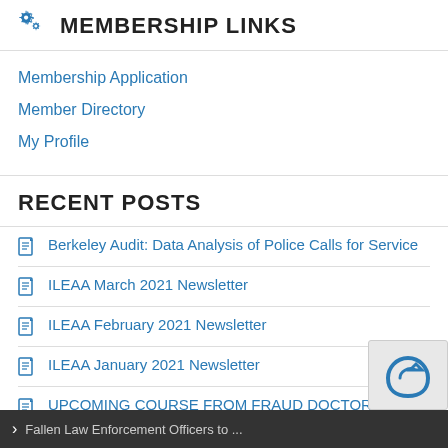MEMBERSHIP LINKS
Membership Application
Member Directory
My Profile
RECENT POSTS
Berkeley Audit: Data Analysis of Police Calls for Service
ILEAA March 2021 Newsletter
ILEAA February 2021 Newsletter
ILEAA January 2021 Newsletter
UPCOMING COURSE FROM FRAUD DOCTOR SRCA-INTRO TO SYSTEMIC ROOT CAUSE ANALYSIS (GOLD LEV...
Fallen Law Enforcement Officers to ...